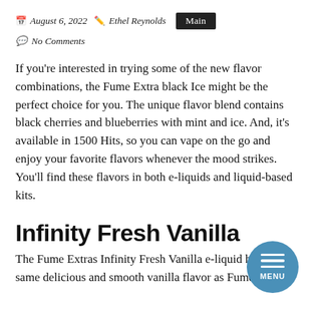August 6, 2022  Ethel Reynolds  Main
No Comments
If you're interested in trying some of the new flavor combinations, the Fume Extra black Ice might be the perfect choice for you. The unique flavor blend contains black cherries and blueberries with mint and ice. And, it's available in 1500 Hits, so you can vape on the go and enjoy your favorite flavors whenever the mood strikes. You'll find these flavors in both e-liquids and liquid-based kits.
Infinity Fresh Vanilla
The Fume Extras Infinity Fresh Vanilla e-liquid has the same delicious and smooth vanilla flavor as Fume Ultra and Extra. These are the standard and popular flavors